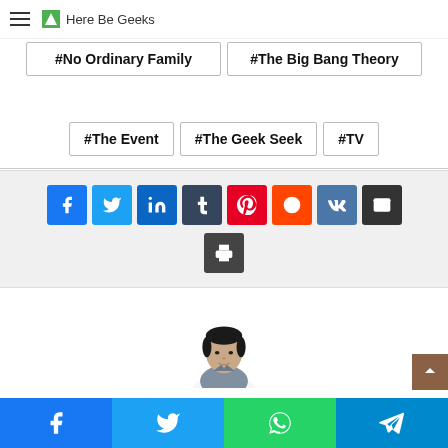Here Be Geeks
#No Ordinary Family
#The Big Bang Theory
#The Event
#The Geek Seek
#TV
[Figure (infographic): Social share buttons: Facebook, Twitter, LinkedIn, Tumblr, Pinterest, Reddit, VK, Email, Print]
[Figure (photo): Author headshot photo of a young Asian man in a blue-grey shirt]
[Figure (infographic): Mobile bottom bar share buttons: Facebook, Twitter, WhatsApp, Telegram]